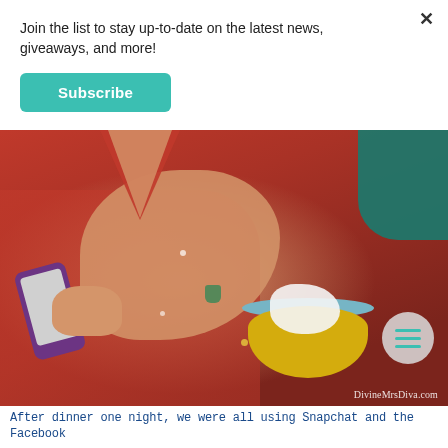Join the list to stay up-to-date on the latest news, giveaways, and more!
Subscribe
[Figure (photo): Person in red top lying down looking at phone with yellow bowl of food nearby, watermark DivineMrsDiva.com]
After dinner one night, we were all using Snapchat and the Facebook